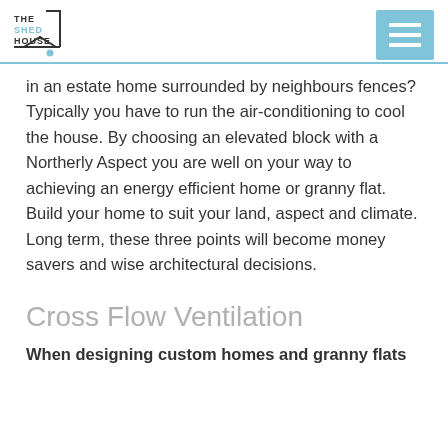THE SHED HOUSE
in an estate home surrounded by neighbours fences? Typically you have to run the air-conditioning to cool the house. By choosing an elevated block with a Northerly Aspect you are well on your way to achieving an energy efficient home or granny flat. Build your home to suit your land, aspect and climate. Long term, these three points will become money savers and wise architectural decisions.
Cross Flow Ventilation
When designing custom homes and granny flats